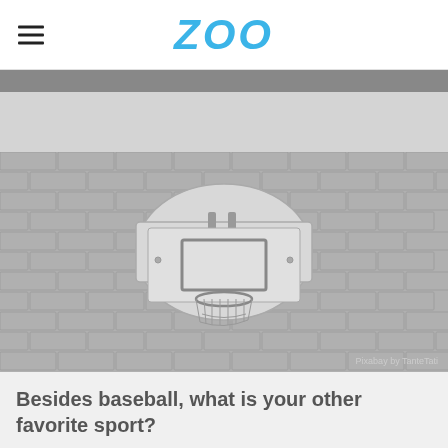ZOO
[Figure (photo): A basketball hoop backboard mounted on a gray brick wall, grayscale image. Credit: Pixabay by TanteTati]
Pixabay by TanteTati
Besides baseball, what is your other favorite sport?